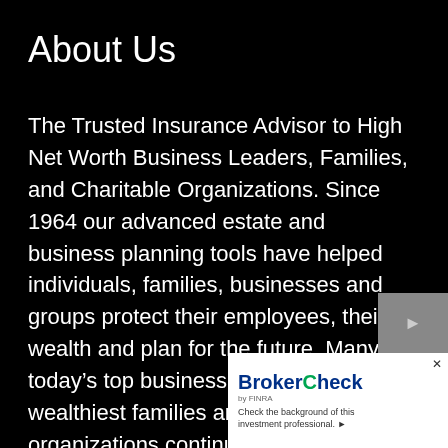About Us
The Trusted Insurance Advisor to High Net Worth Business Leaders, Families, and Charitable Organizations. Since 1964 our advanced estate and business planning tools have helped individuals, families, businesses and groups protect their employees, their wealth and plan for the future. Many of today’s top business leaders, America’s wealthiest families and charitable organizations continually choose Richard S. Bernstein Insurance Group as their insurance advisor. Don't hesitate, contact our expert net worth advisors to start planning for
[Figure (other): BrokerCheck by FINRA overlay widget with close button, logo, and text 'Check the background of this investment professional.']